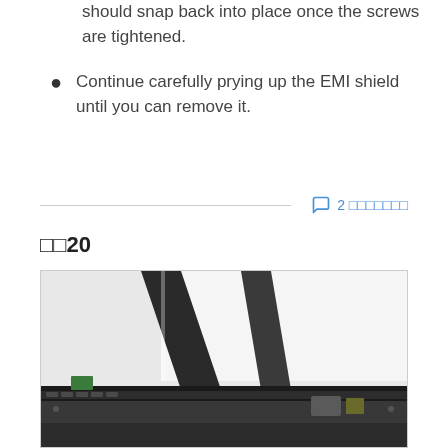should snap back into place once the screws are tightened.
Continue carefully prying up the EMI shield until you can remove it.
2 □□□□□□□
□□20
[Figure (photo): Close-up photo of a laptop or device being disassembled, showing internal components including what appears to be a prying tool inserted under the EMI shield, with visible circuit board components and metal frame at the bottom.]